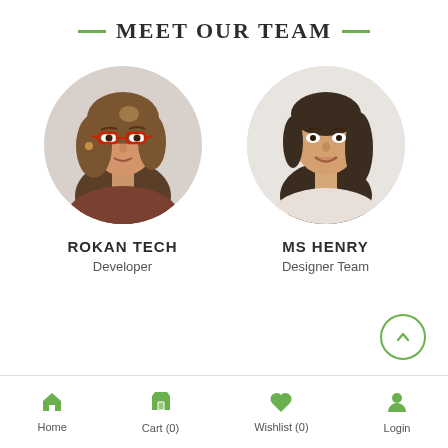MEET OUR TEAM
[Figure (photo): Circular portrait photo of Rokan Tech, a woman with brown hair and red glasses]
ROKAN TECH
Developer
[Figure (photo): Circular portrait photo of Ms Henry, a woman with dark hair smiling]
MS HENRY
Designer Team
Home   Cart (0)   Wishlist (0)   Login